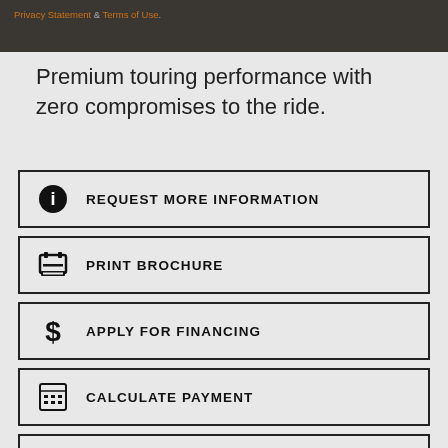Privacy Statement & Terms of Use.
Premium touring performance with zero compromises to the ride.
REQUEST MORE INFORMATION
PRINT BROCHURE
APPLY FOR FINANCING
CALCULATE PAYMENT
SCHEDULE A TEST RIDE
COMPARE MODELS